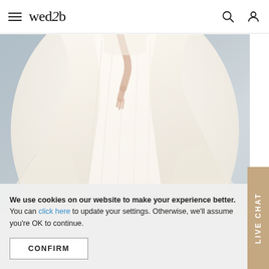wed2b
[Figure (photo): A white/ivory wedding dress with a full tulle ballgown skirt and long train, displayed on a model against a light grey-blue background. Only the lower body and flowing skirt are visible.]
We use cookies on our website to make your experience better. You can click here to update your settings. Otherwise, we'll assume you're OK to continue.
CONFIRM